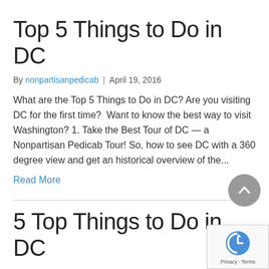Top 5 Things to Do in DC
By nonpartisanpedicab  |  April 19, 2016
What are the Top 5 Things to Do in DC? Are you visiting DC for the first time?  Want to know the best way to visit Washington? 1. Take the Best Tour of DC — a Nonpartisan Pedicab Tour! So, how to see DC with a 360 degree view and get an historical overview of the...
Read More
5 Top Things to Do in DC
By nonpartisanpedicab  |  March 1, 2016
Looking for the top 5 things to do in DC? Well, here are 5...